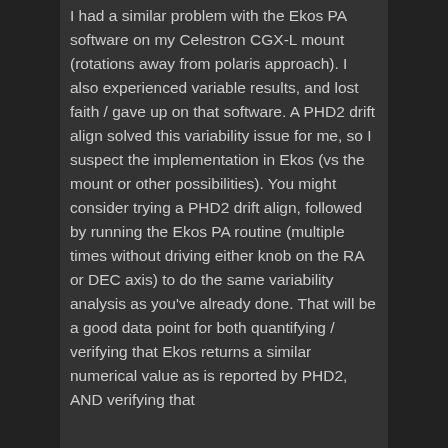I had a similar problem with the Ekos PA software on my Celestron CGX-L mount (rotations away from polaris approach). I also experienced variable results, and lost faith / gave up on that software. A PHD2 drift align solved this variability issue for me, so I suspect the implementation in Ekos (vs the mount or other possibilities). You might consider trying a PHD2 drift align, followed by running the Ekos PA routine (multiple times without driving either knob on the RA or DEC axis) to do the same variability analysis as you've already done. That will be a good data point for both quantifying / verifying that Ekos returns a similar numerical value as is reported by PHD2, AND verifying that